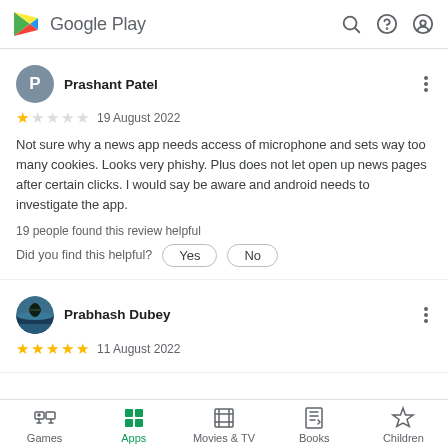Google Play
Prashant Patel
★ 19 August 2022
Not sure why a news app needs access of microphone and sets way too many cookies. Looks very phishy. Plus does not let open up news pages after certain clicks. I would say be aware and android needs to investigate the app.
19 people found this review helpful
Did you find this helpful?  Yes  No
Prabhash Dubey
★★★★★ 11 August 2022
Games  Apps  Movies & TV  Books  Children